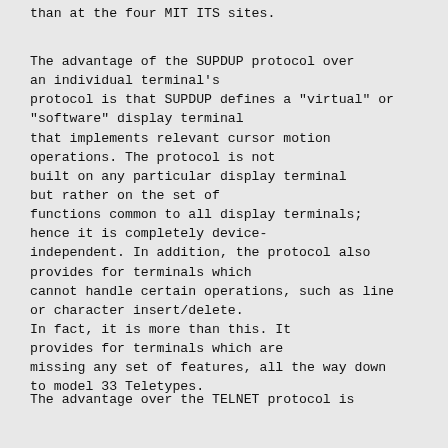than at the four MIT ITS sites.
The advantage of the SUPDUP protocol over an individual terminal's protocol is that SUPDUP defines a "virtual" or "software" display terminal that implements relevant cursor motion operations. The protocol is not built on any particular display terminal but rather on the set of functions common to all display terminals; hence it is completely device-independent. In addition, the protocol also provides for terminals which cannot handle certain operations, such as line or character insert/delete. In fact, it is more than this. It provides for terminals which are missing any set of features, all the way down to model 33 Teletypes.
The advantage over the TELNET protocol is